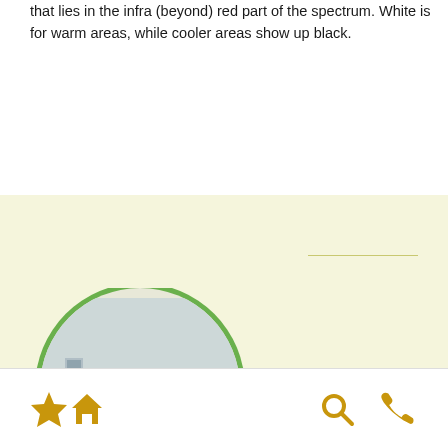that lies in the infra (beyond) red part of the spectrum. White is for warm areas, while cooler areas show up black.
[Figure (photo): A handheld thermal imaging camera displaying a colorful thermal image of a room interior, shown inside a green-bordered circle on a beige background.]
Navigation bar with star, home, search, and phone icons in golden/amber color.